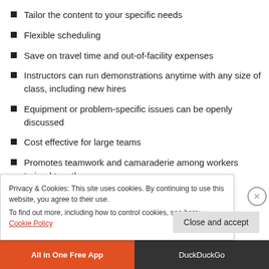Tailor the content to your specific needs
Flexible scheduling
Save on travel time and out-of-facility expenses
Instructors can run demonstrations anytime with any size of class, including new hires
Equipment or problem-specific issues can be openly discussed
Cost effective for large teams
Promotes teamwork and camaraderie among workers trained together
Privacy & Cookies: This site uses cookies. By continuing to use this website, you agree to their use.
To find out more, including how to control cookies, see here: Cookie Policy
Close and accept
[Figure (screenshot): Bottom browser bar with All in One Free App button and DuckDuckGo branding]